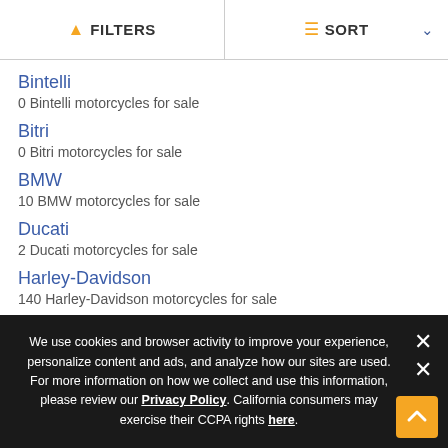FILTERS | SORT
Bintelli
0 Bintelli motorcycles for sale
Bitri
0 Bitri motorcycles for sale
BMW
10 BMW motorcycles for sale
Ducati
2 Ducati motorcycles for sale
Harley-Davidson
140 Harley-Davidson motorcycles for sale
Honda
49 Honda motorcycles for sale
We use cookies and browser activity to improve your experience, personalize content and ads, and analyze how our sites are used. For more information on how we collect and use this information, please review our Privacy Policy. California consumers may exercise their CCPA rights here.